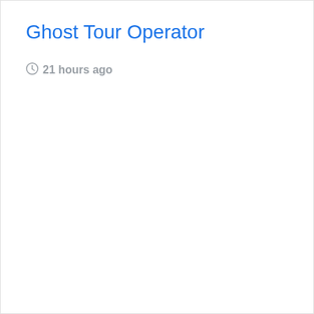Ghost Tour Operator
21 hours ago